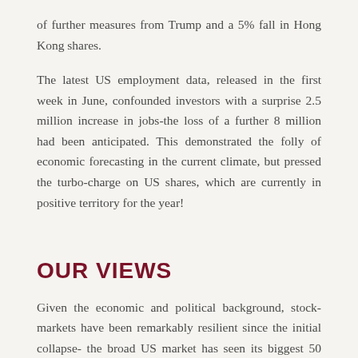of further measures from Trump and a 5% fall in Hong Kong shares.
The latest US employment data, released in the first week in June, confounded investors with a surprise 2.5 million increase in jobs-the loss of a further 8 million had been anticipated. This demonstrated the folly of economic forecasting in the current climate, but pressed the turbo-charge on US shares, which are currently in positive territory for the year!
OUR VIEWS
Given the economic and political background, stock-markets have been remarkably resilient since the initial collapse- the broad US market has seen its biggest 50 day rally in over 60 years.